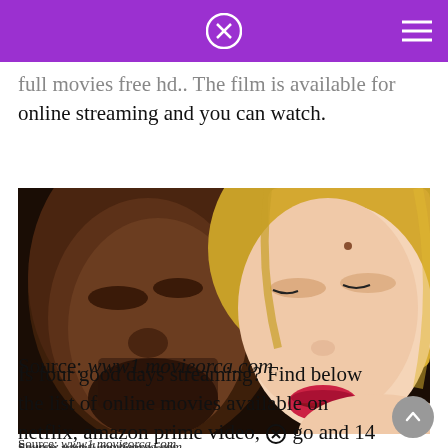[Purple header bar with close X button and hamburger menu]
full movies free hd.. The film is available for online streaming and you can watch.
[Figure (photo): Close-up photo of two people with eyes closed and faces together — one person on the left and a blonde woman on the right with red lipstick.]
Source: www1.movieorca.com
Is four good days streaming? Find below the list of online movies available on netflix, amazon prime video, [x] go and 14 other